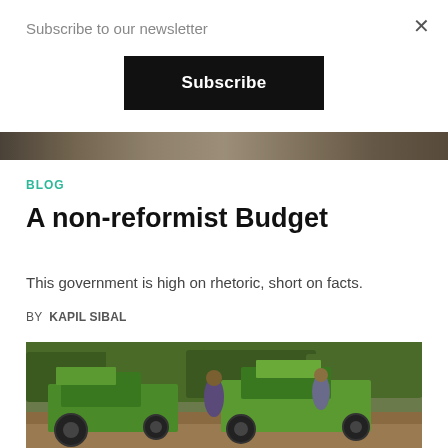Subscribe to our newsletter
×
Subscribe
[Figure (photo): Partial image strip showing outdoor/nature scene at top of page]
BLOG
A non-reformist Budget
This government is high on rhetoric, short on facts.
BY KAPIL SIBAL
[Figure (photo): Photograph of green tractors in an outdoor field setting with people visible]